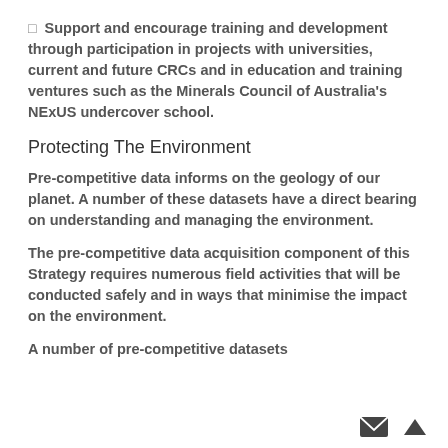❑ Support and encourage training and development through participation in projects with universities, current and future CRCs and in education and training ventures such as the Minerals Council of Australia's NExUS undercover school.
Protecting The Environment
Pre-competitive data informs on the geology of our planet. A number of these datasets have a direct bearing on understanding and managing the environment.
The pre-competitive data acquisition component of this Strategy requires numerous field activities that will be conducted safely and in ways that minimise the impact on the environment.
A number of pre-competitive datasets